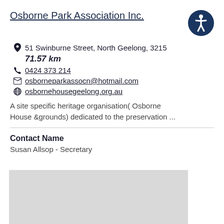Osborne Park Association Inc.
51 Swinburne Street, North Geelong, 3215
71.57 km
0424 373 214
osborneparkassocn@hotmail.com
osbornehousegeelong.org.au
A site specific heritage organisation( Osborne House &grounds) dedicated to the preservation ...
Contact Name
Susan Allsop - Secretary
[Figure (map): Grey map placeholder area]